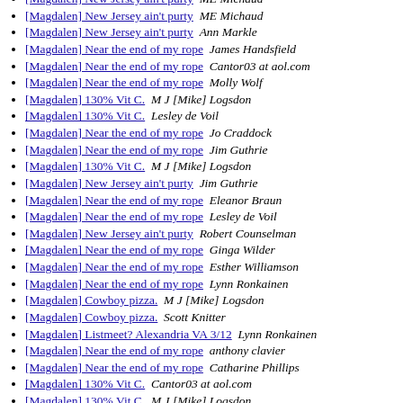[Magdalen] New Jersey ain't purty  ME Michaud
[Magdalen] New Jersey ain't purty  ME Michaud
[Magdalen] New Jersey ain't purty  Ann Markle
[Magdalen] Near the end of my rope  James Handsfield
[Magdalen] Near the end of my rope  Cantor03 at aol.com
[Magdalen] Near the end of my rope  Molly Wolf
[Magdalen] 130% Vit C.  M J [Mike] Logsdon
[Magdalen] 130% Vit C.  Lesley de Voil
[Magdalen] Near the end of my rope  Jo Craddock
[Magdalen] Near the end of my rope  Jim Guthrie
[Magdalen] 130% Vit C.  M J [Mike] Logsdon
[Magdalen] New Jersey ain't purty  Jim Guthrie
[Magdalen] Near the end of my rope  Eleanor Braun
[Magdalen] Near the end of my rope  Lesley de Voil
[Magdalen] New Jersey ain't purty  Robert Counselman
[Magdalen] Near the end of my rope  Ginga Wilder
[Magdalen] Near the end of my rope  Esther Williamson
[Magdalen] Near the end of my rope  Lynn Ronkainen
[Magdalen] Cowboy pizza.  M J [Mike] Logsdon
[Magdalen] Cowboy pizza.  Scott Knitter
[Magdalen] Listmeet? Alexandria VA 3/12  Lynn Ronkainen
[Magdalen] Near the end of my rope  anthony clavier
[Magdalen] Near the end of my rope  Catharine Phillips
[Magdalen] 130% Vit C.  Cantor03 at aol.com
[Magdalen] 130% Vit C.  M J [Mike] Logsdon